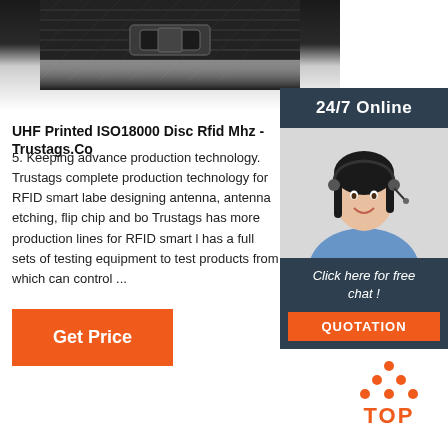[Figure (photo): Close-up photo of a dark nylon strap/wristband product at the top of the page]
[Figure (photo): Sidebar widget showing 24/7 Online chat support with a smiling woman wearing a headset]
UHF Printed ISO18000 Disc Rfid Mhz - Trustags.Co
5. Keeping advance production technology. Trustags complete production technology for RFID smart labe designing antenna, antenna etching, flip chip and bo Trustags has more production lines for RFID smart l has a full sets of testing equipment to test products from which can control ...
[Figure (other): Orange 'Get Price' button]
[Figure (logo): TOP logo with orange dots arranged in a triangle above the orange text TOP]